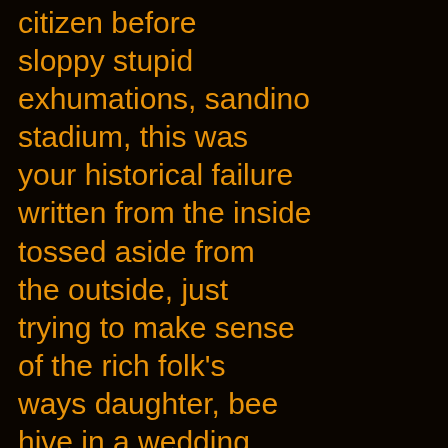citizen before
sloppy stupid
exhumations, sandino
stadium, this was
your historical failure
written from the inside
tossed aside from
the outside, just
trying to make sense
of the rich folk's
ways daughter, bee
hive in a wedding
dress, more brylcreem
now, brinkmanshin with